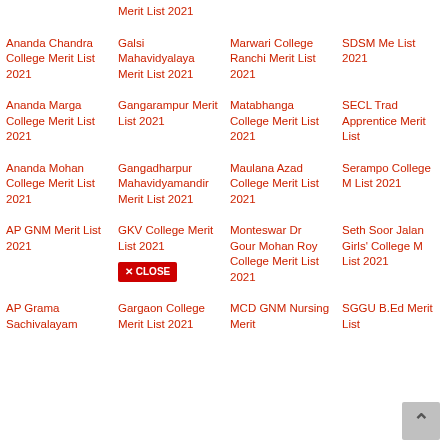Merit List 2021
Ananda Chandra College Merit List 2021
Galsi Mahavidyalaya Merit List 2021
Marwari College Ranchi Merit List 2021
SDSM Merit List 2021
Ananda Marga College Merit List 2021
Gangarampur Merit List 2021
Matabhanga College Merit List 2021
SECL Trade Apprentice Merit List
Ananda Mohan College Merit List 2021
Gangadharpur Mahavidyamandir Merit List 2021
Maulana Azad College Merit List 2021
Serampore College Merit List 2021
AP GNM Merit List 2021
GKV College Merit List 2021
Monteswar Dr Gour Mohan Roy College Merit List 2021
Seth Soorajmal Jalan Girls' College Merit List 2021
AP Grama Sachivalayam
Gargaon College Merit List 2021
MCD GNM Nursing Merit
SGGU B.Ed Merit List